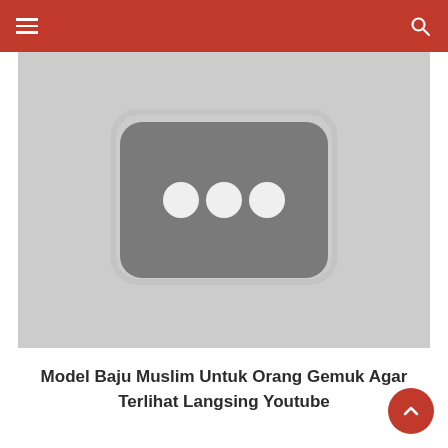Navigation bar with hamburger menu and search icon
[Figure (screenshot): YouTube video placeholder image — grey background with a dark rounded-rectangle icon containing three white circles]
Model Baju Muslim Untuk Orang Gemuk Agar Terlihat Langsing Youtube